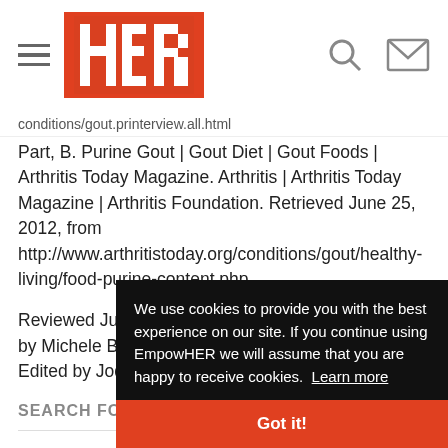HER (logo)
conditions/gout.printerview.all.html
Part, B. Purine Gout | Gout Diet | Gout Foods | Arthritis Today Magazine. Arthritis | Arthritis Today Magazine | Arthritis Foundation. Retrieved June 25, 2012, from http://www.arthritistoday.org/conditions/gout/healthy-living/food-purine-content.php
Reviewed June 25, 2012
by Michele Blacksberg RN
Edited by Jody Smith
SEARCH FOR
1.  QUICK GOU...
2.  NATURAL C...
We use cookies to provide you with the best experience on our site. If you continue using EmpowHER we will assume that you are happy to receive cookies.  Learn more
Got it!